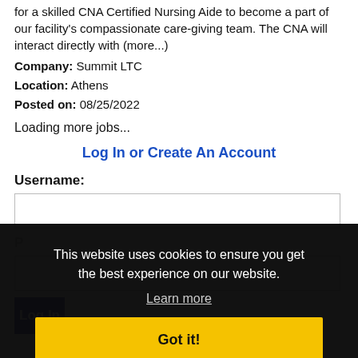for a skilled CNA Certified Nursing Aide to become a part of our facility's compassionate care-giving team. The CNA will interact directly with (more...)
Company: Summit LTC
Location: Athens
Posted on: 08/25/2022
Loading more jobs...
Log In or Create An Account
Username:
Password:
Log In
Forgot password?
This website uses cookies to ensure you get the best experience on our website.
Learn more
Got it!